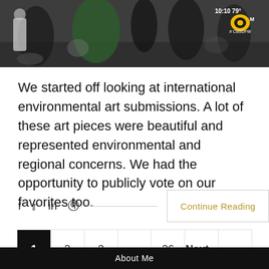[Figure (photo): News broadcast screenshot showing people at an event, with a CBS DFW watermark and time/temperature overlay reading 10:10, 79°F in the top right corner.]
We started off looking at international environmental art submissions. A lot of these art pieces were beautiful and represented environmental and regional concerns. We had the opportunity to publicly vote on our favorites too.
f  𝕏  in  ⊕  — Continue Reading
1  2  3  ...  26  Next »
About Me